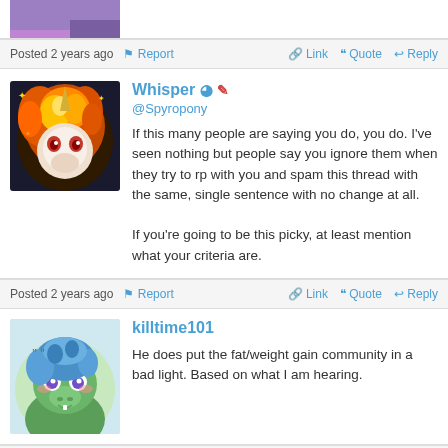[Figure (screenshot): Partial avatar image at top of page, cropped]
Posted 2 years ago  Report  Link  Quote  Reply
[Figure (illustration): Avatar of Whisper: anime-style unicorn pony with red/orange fire mane and red eyes on dark background]
Whisper @Spyropony
If this many people are saying you do, you do. I've seen nothing but people say you ignore them when they try to rp with you and spam this thread with the same, single sentence with no change at all.

If you're going to be this picky, at least mention what your criteria are.
Posted 2 years ago  Report  Link  Quote  Reply
[Figure (illustration): Avatar of killtime101: anime-style green pony with blue hair and purple eyes with blush marks]
killtime101
He does put the fat/weight gain community in a bad light. Based on what I am hearing.
Posted 2 years ago  Report  Link  Quote  Reply